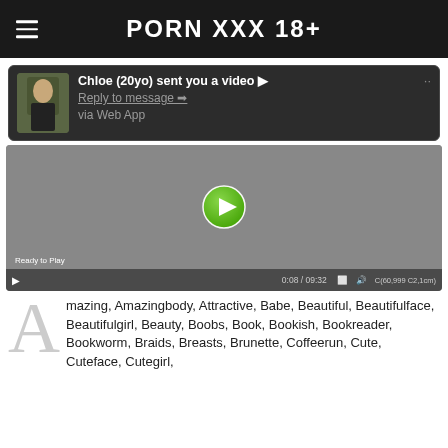PORN XXX 18+
Chloe (20yo) sent you a video ▶
Reply to message ➡
via Web App
[Figure (screenshot): Video player showing a grey video frame with a green play button in the center, controls bar at bottom showing 0:08 / 09:32, Ready to Play text]
Amazing, Amazingbody, Attractive, Babe, Beautiful, Beautifulface, Beautifulgirl, Beauty, Boobs, Book, Bookish, Bookreader, Bookworm, Braids, Breasts, Brunette, Coffeerun, Cute, Cuteface, Cutegirl,